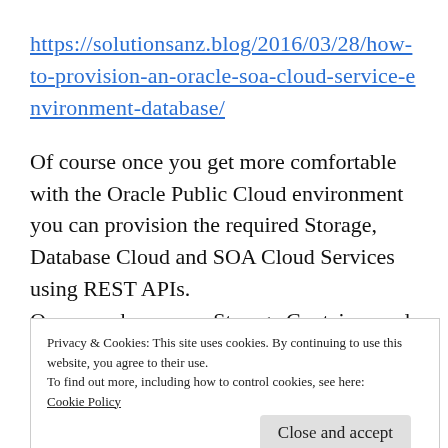https://solutionsanz.blog/2016/03/28/how-to-provision-an-oracle-soa-cloud-service-environment-database/
Of course once you get more comfortable with the Oracle Public Cloud environment you can provision the required Storage, Database Cloud and SOA Cloud Services using REST APIs. Once you have your Storage Container and
Privacy & Cookies: This site uses cookies. By continuing to use this website, you agree to their use.
To find out more, including how to control cookies, see here: Cookie Policy
Close and accept
application at https://cloud.oracle.com/container